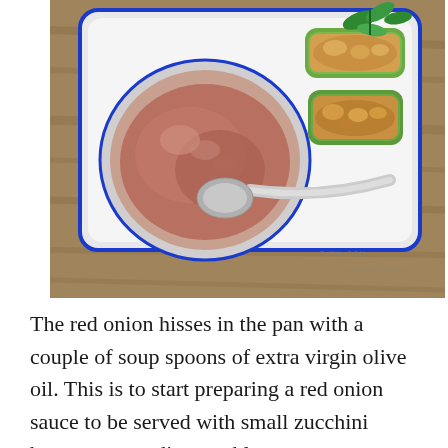[Figure (photo): Overhead view of a white plate with blue rim on a wooden table, containing a bowl of red onion sauce with a spoon and two zucchini boats filled with a golden baked cheese/vegetable mixture, garnished with fresh herbs.]
The red onion hisses in the pan with a couple of soup spoons of extra virgin olive oil. This is to start preparing a red onion sauce to be served with small zucchini boats on your dinner table